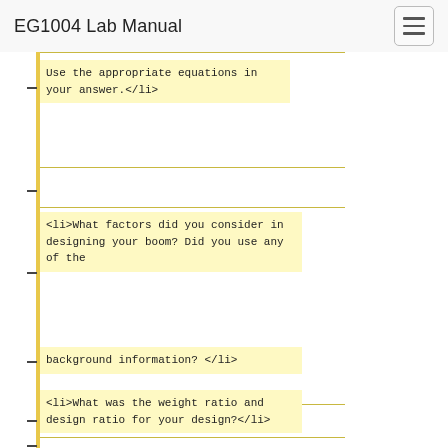EG1004 Lab Manual
Use the appropriate equations in your answer.</li>
<li>What factors did you consider in designing your boom? Did you use any of the background information? </li>
<li>What was the weight ratio and design ratio for your design?</li>